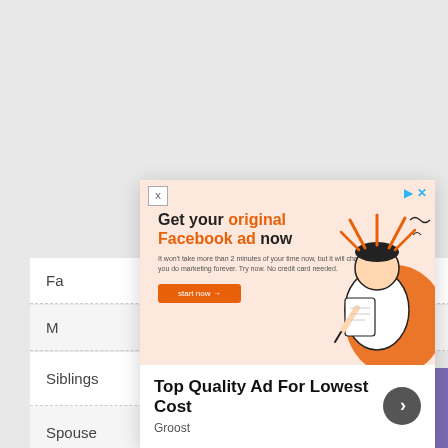[Figure (screenshot): Advertisement overlay for Groost showing 'Get your original Facebook ad now' with illustration of person with ideas, orange color scheme, headline 'Top Quality Ad For Lowest Cost', brand 'Groost', and a next arrow button]
| Field | Value |
| --- | --- |
| Fa… |  |
| M… |  |
| Siblings | Not Available |
| Spouse | Not Known |
| Children(s) | Not Available |